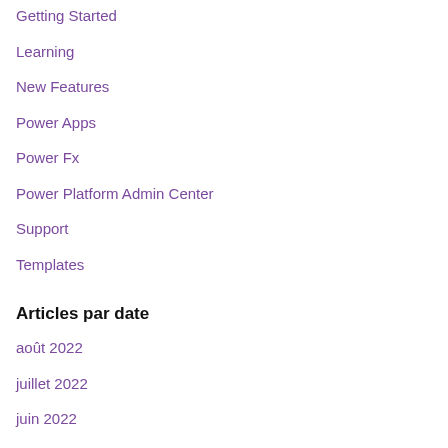Getting Started
Learning
New Features
Power Apps
Power Fx
Power Platform Admin Center
Support
Templates
Articles par date
août 2022
juillet 2022
juin 2022
mai 2022